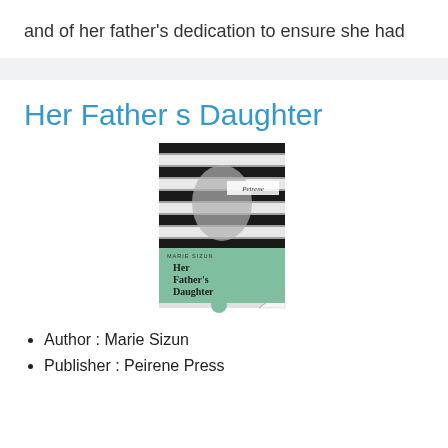and of her father's dedication to ensure she had
Her Father s Daughter
[Figure (photo): Book cover of 'Her Father's Daughter' by Marie Sizun, published by Peirene Press. The cover shows a black and white striped pattern (possibly fabric) with a green/teal bottom section and the book title in white text.]
Author : Marie Sizun
Publisher : Peirene Press